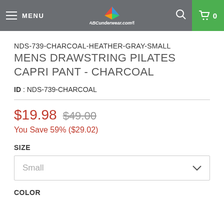MENU | ABCunderwear.com | Search | Cart 0
NDS-739-CHARCOAL-HEATHER-GRAY-SMALL
MENS DRAWSTRING PILATES CAPRI PANT - CHARCOAL
ID : NDS-739-CHARCOAL
$19.98  $49.00
You Save 59% ($29.02)
SIZE
Small
COLOR